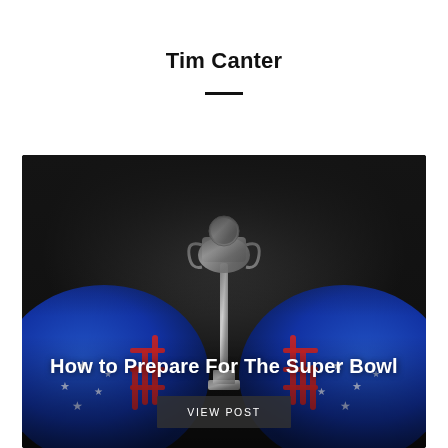Tim Canter
[Figure (photo): Dark background with two American football helmets decorated with blue and red stars, flanking a Vince Lombardi Trophy in the center. The card also contains the article title 'How to Prepare For The Super Bowl' and a 'VIEW POST' button.]
How to Prepare For The Super Bowl
VIEW POST